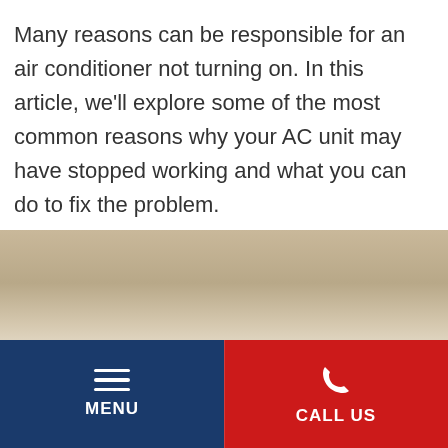Many reasons can be responsible for an air conditioner not turning on. In this article, we'll explore some of the most common reasons why your AC unit may have stopped working and what you can do to fix the problem.
[Figure (photo): Photo of an air conditioning unit mounted on a wall, with a remote control held in front of it and a yellow button visible on the unit]
MENU | CALL US